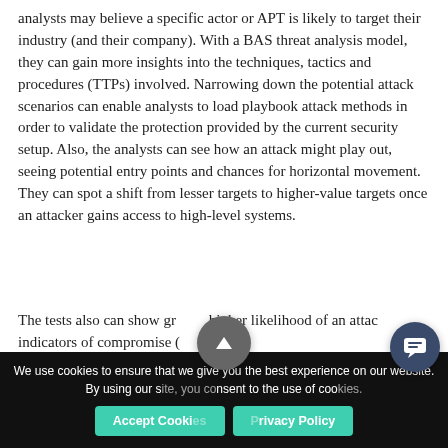analysts may believe a specific actor or APT is likely to target their industry (and their company). With a BAS threat analysis model, they can gain more insights into the techniques, tactics and procedures (TTPs) involved. Narrowing down the potential attack scenarios can enable analysts to load playbook attack methods in order to validate the protection provided by the current security setup. Also, the analysts can see how an attack might play out, seeing potential entry points and chances for horizontal movement. They can spot a shift from lesser targets to higher-value targets once an attacker gains access to high-level systems.
The tests also can show gro... higher likelihood of an attac... indicators of compromise (...
[Figure (screenshot): Chat support popup widget showing three avatar photos, an X close button, and the text 'Got any questions? We're happy to help.']
We use cookies to ensure that we give you the best experience on our website. By using our s... nsent to the use of coo...